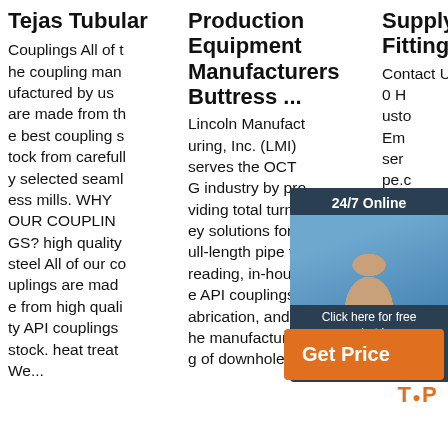Tejas Tubular
Couplings All of the coupling manufactured by us are made from the best coupling stock from carefully selected seamless mills. WHY OUR COUPLINGS? high quality steel All of our couplings are made from high quality API couplings stock. heat treat We...
Production Equipment Manufacturers Buttress ...
Lincoln Manufacturing, Inc. (LMI) serves the OCT G industry by providing total turnkey solutions for full-length pipe threading, in-house API couplings fabrication, and the manufacturing of downhole dri...
Supply - Fittings
Contact Us. 233 0 H... usto... Em... ser... pe.c... -80... ax: 1
[Figure (photo): 24/7 Online chat widget with woman wearing headset, dark blue background, Click here for free chat!, QUOTATION button]
[Figure (infographic): Get Price button in orange with TOP badge and dots]